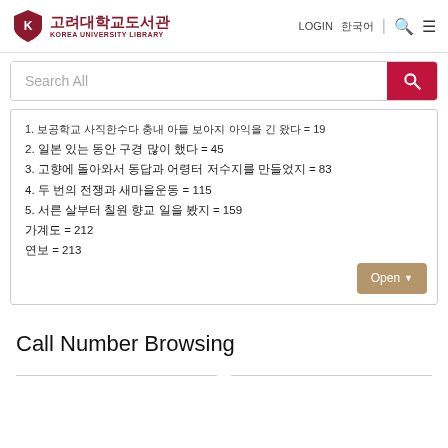고려대학교도서관 KOREA UNIVERSITY LIBRARY | LOGIN 한국어
Search All
1. 보공학교 사직한수다 충내 아들 보아지 아익을 긴 왔다 = 19
2. 일본 있는 동안 구경 많이 했다 = 45
3. 고향에 돌아와서 동답과 어령터 저수지를 만들었지 = 83
4. 두 번의 전쟁과 새마을운동 = 115
5. 서른 살부터 칠원 향교 일을 봤지 = 159
가계도 = 212
연보 = 213
Call Number Browsing